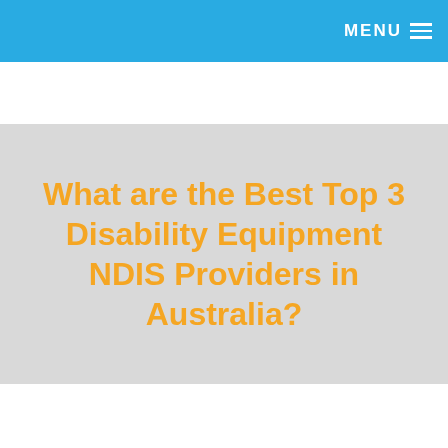MENU
What are the Best Top 3 Disability Equipment NDIS Providers in Australia?
Are you wondering who are the top 3 disability Equipment NDIS Providers in Australia?